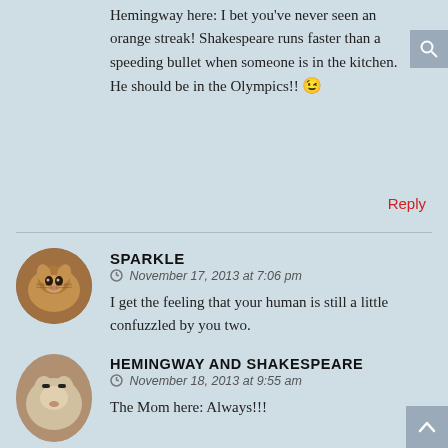Hemingway here: I bet you've never seen an orange streak! Shakespeare runs faster than a speeding bullet when someone is in the kitchen. He should be in the Olympics!! 😉
Reply
SPARKLE
November 17, 2013 at 7:06 pm
I get the feeling that your human is still a little confuzzled by you two.
Reply
HEMINGWAY AND SHAKESPEARE
November 18, 2013 at 9:55 am
The Mom here: Always!!!